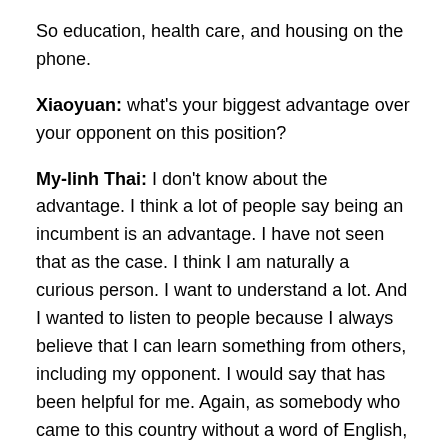So education, health care, and housing on the phone.
Xiaoyuan: what's your biggest advantage over your opponent on this position?
My-linh Thai: I don't know about the advantage. I think a lot of people say being an incumbent is an advantage. I have not seen that as the case. I think I am naturally a curious person. I want to understand a lot. And I wanted to listen to people because I always believe that I can learn something from others, including my opponent. I would say that has been helpful for me. Again, as somebody who came to this country without a word of English, as a refugee, which means we didn't have the luxury of packing, anything with us leading to an honor to serve as a state representative in the 41st legislative district? I would say, due to the curiosity, the openness to learned